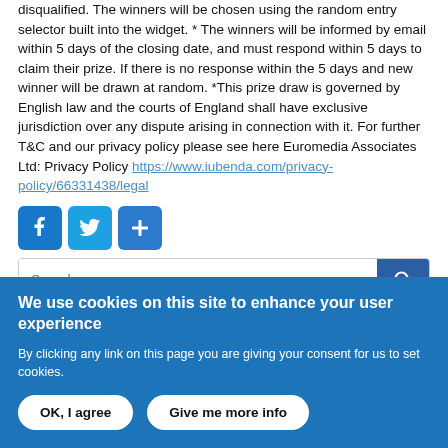disqualified. The winners will be chosen using the random entry selector built into the widget. * The winners will be informed by email within 5 days of the closing date, and must respond within 5 days to claim their prize. If there is no response within the 5 days and new winner will be drawn at random. *This prize draw is governed by English law and the courts of England shall have exclusive jurisdiction over any dispute arising in connection with it. For further T&C and our privacy policy please see here Euromedia Associates Ltd: Privacy Policy https://www.iubenda.com/privacy-policy/66331438/legal
[Figure (other): Social share buttons: Facebook, Twitter, and a plus/share button]
[Figure (other): Search bar with text input and blue search button]
We use cookies on this site to enhance your user experience
By clicking any link on this page you are giving your consent for us to set cookies.
OK, I agree | Give me more info